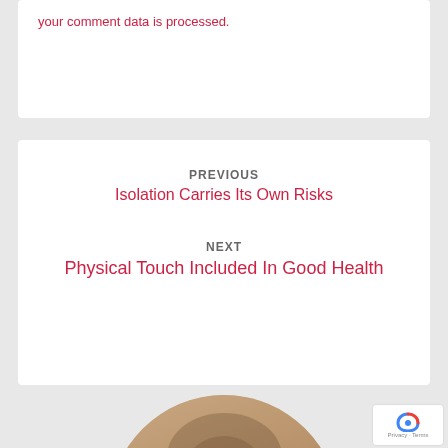your comment data is processed.
PREVIOUS
Isolation Carries Its Own Risks
NEXT
Physical Touch Included In Good Health
[Figure (photo): A woman with brown hair and glasses, smiling, shown in a circular cropped photo against a beige/tan background]